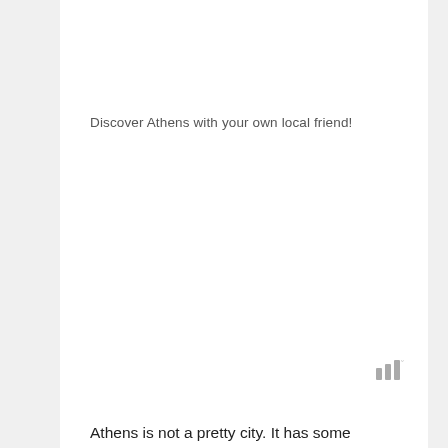Discover Athens with your own local friend!
[Figure (logo): Small logo consisting of three vertical bars of varying height with a superscript degree symbol]
Athens is not a pretty city. It has some